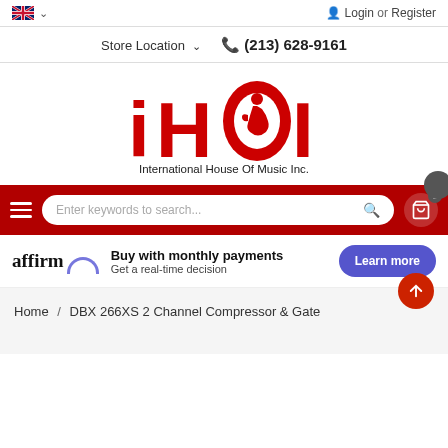Login or Register
Store Location  (213) 628-9161
[Figure (logo): iHOMI International House Of Music Inc. logo — red stylized letters with a guitar player silhouette inside the O]
Enter keywords to search...
affirm  Buy with monthly payments  Get a real-time decision  Learn more
Home / DBX 266XS 2 Channel Compressor & Gate